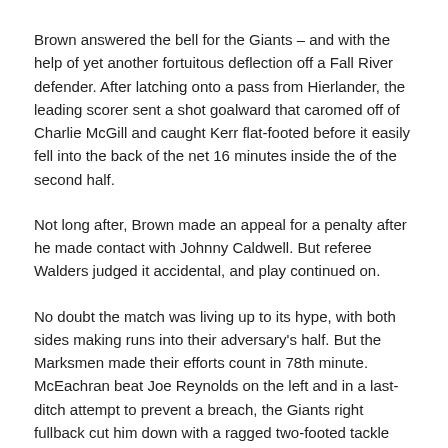Brown answered the bell for the Giants – and with the help of yet another fortuitous deflection off a Fall River defender. After latching onto a pass from Hierlander, the leading scorer sent a shot goalward that caromed off of Charlie McGill and caught Kerr flat-footed before it easily fell into the back of the net 16 minutes inside the of the second half.
Not long after, Brown made an appeal for a penalty after he made contact with Johnny Caldwell. But referee Walders judged it accidental, and play continued on.
No doubt the match was living up to its hype, with both sides making runs into their adversary's half. But the Marksmen made their efforts count in 78th minute. McEachran beat Joe Reynolds on the left and in a last-ditch attempt to prevent a breach, the Giants right fullback cut him down with a ragged two-footed tackle just before the box. The foul forced McEachran off the pitch, but Coyle's subsequent free kick allowed Kelly to secure the winner.
McEachran's injury left the hosts to finish the match with 10 men.
The summary: